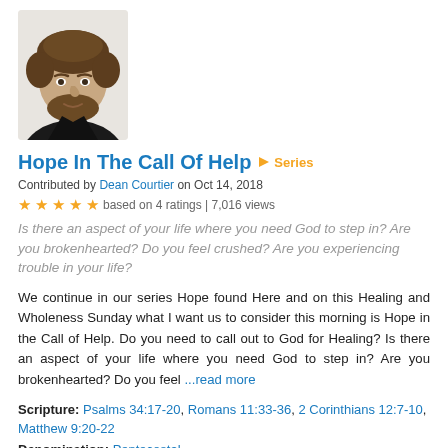[Figure (photo): Headshot photo of a middle-aged man with curly hair and a beard, wearing a black shirt, against a white background]
Hope In The Call Of Help  ⬥ Series
Contributed by Dean Courtier on Oct 14, 2018
★ ★ ★ ★ ★ based on 4 ratings | 7,016 views
Is there an aspect of your life where you need God to step in? Are you brokenhearted? Do you feel crushed? Are you experiencing trouble in your life?
We continue in our series Hope found Here and on this Healing and Wholeness Sunday what I want us to consider this morning is Hope in the Call of Help. Do you need to call out to God for Healing? Is there an aspect of your life where you need God to step in? Are you brokenhearted? Do you feel ...read more
Scripture: Psalms 34:17-20, Romans 11:33-36, 2 Corinthians 12:7-10, Matthew 9:20-22
Denomination: Pentecostal